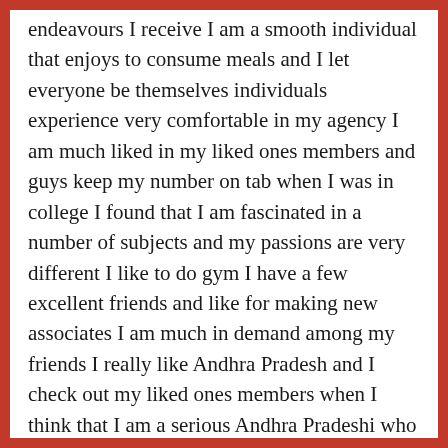endeavours I receive I am a smooth individual that enjoys to consume meals and I let everyone be themselves individuals experience very comfortable in my agency I am much liked in my liked ones members and guys keep my number on tab when I was in college I found that I am fascinated in a number of subjects and my passions are very different I like to do gym I have a few excellent friends and like for making new associates I am much in demand among my friends I really like Andhra Pradesh and I check out my liked ones members when I think that I am a serious Andhra Pradeshi who prefers to eat plenty of poultry and I also like to consume rum and alcohol I consume a lot and then I am all tipsy which I have a lot you will relish my company a lot if I am consume although you would like to see me even if I am not consuming much you can tell me what type of dress you like as I have outfits which are very